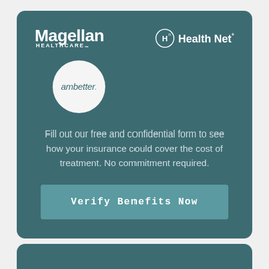[Figure (logo): Magellan Healthcare logo — white text on teal card background]
[Figure (logo): Health Net logo with H icon — white text on teal card background]
[Figure (logo): Ambetter logo — italic text inside white circle]
Fill out our free and confidential form to see how your insurance could cover the cost of treatment. No commitment required.
Verify Benefits Now